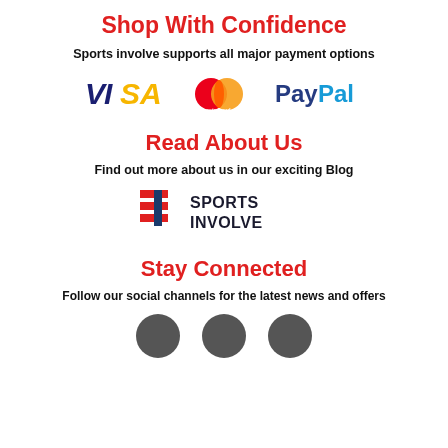Shop With Confidence
Sports involve supports all major payment options
[Figure (logo): VISA, Mastercard, and PayPal payment logos displayed in a row]
Read About Us
Find out more about us in our exciting Blog
[Figure (logo): Sports Involve brand logo with red and navy icon and bold text]
Stay Connected
Follow our social channels for the latest news and offers
[Figure (logo): Three circular social media icons at the bottom of the page]